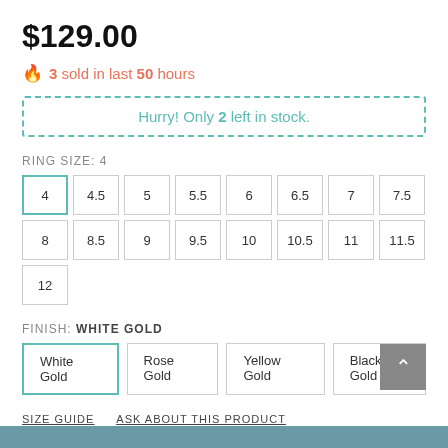$129.00
🔥 3 sold in last 50 hours
Hurry! Only 2 left in stock.
RING SIZE: 4
Sizes: 4, 4.5, 5, 5.5, 6, 6.5, 7, 7.5, 8, 8.5, 9, 9.5, 10, 10.5, 11, 11.5, 12
FINISH: WHITE GOLD
Finish options: White Gold, Rose Gold, Yellow Gold, Black Gold
SIZE GUIDE   ASK ABOUT THIS PRODUCT
Quantity: 1